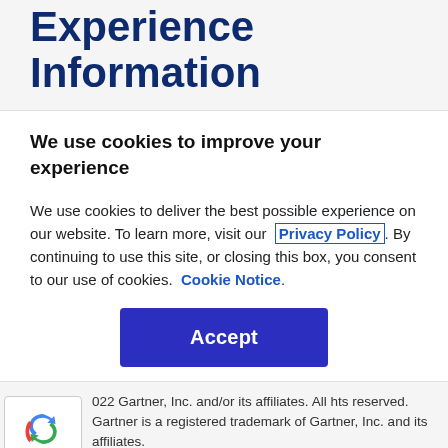Experience Information
We use cookies to improve your experience
We use cookies to deliver the best possible experience on our website. To learn more, visit our  Privacy Policy . By continuing to use this site, or closing this box, you consent to our use of cookies.  Cookie Notice .
Accept
022 Gartner, Inc. and/or its affiliates. All hts reserved. Gartner is a registered trademark of Gartner, Inc. and its affiliates.